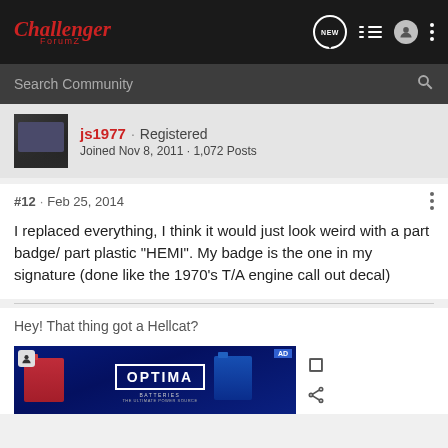Challenger ForumZ — NEW | list | user | menu
Search Community
js1977 · Registered
Joined Nov 8, 2011 · 1,072 Posts
#12 · Feb 25, 2014
I replaced everything, I think it would just look weird with a part badge/ part plastic "HEMI". My badge is the one in my signature (done like the 1970's T/A engine call out decal)
Hey! That thing got a Hellcat?
[Figure (photo): Optima Batteries advertisement banner with blue background showing battery products]